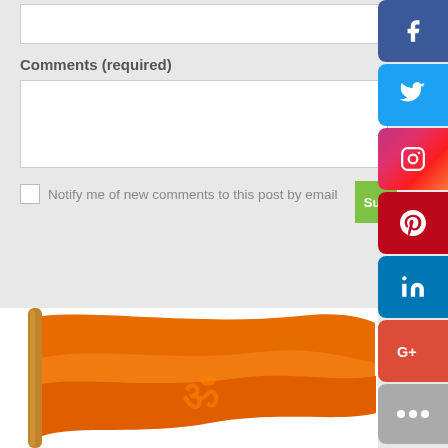Comments (required)
Notify me of new comments to this post by email
[Figure (screenshot): Social media share buttons sidebar: Facebook (blue), Twitter (light blue), Instagram (pink/red gradient), Pinterest (dark red), LinkedIn (blue), Google+ (red-orange), More (gray)]
[Figure (illustration): Orange saffron flag with Om symbol, rolled on a wooden stick, waving against white background]